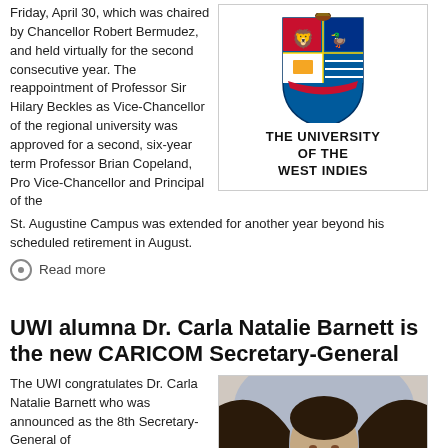Friday, April 30, which was chaired by Chancellor Robert Bermudez, and held virtually for the second consecutive year. The reappointment of Professor Sir Hilary Beckles as Vice-Chancellor of the regional university was approved for a second, six-year term Professor Brian Copeland, Pro Vice-Chancellor and Principal of the St. Augustine Campus was extended for another year beyond his scheduled retirement in August.
[Figure (logo): The University of the West Indies crest/coat of arms logo with the text 'THE UNIVERSITY OF THE WEST INDIES' below it]
Read more
UWI alumna Dr. Carla Natalie Barnett is the new CARICOM Secretary-General
The UWI congratulates Dr. Carla Natalie Barnett who was announced as the 8th Secretary-General of
[Figure (photo): Headshot photo of Dr. Carla Natalie Barnett, a woman with dark hair]